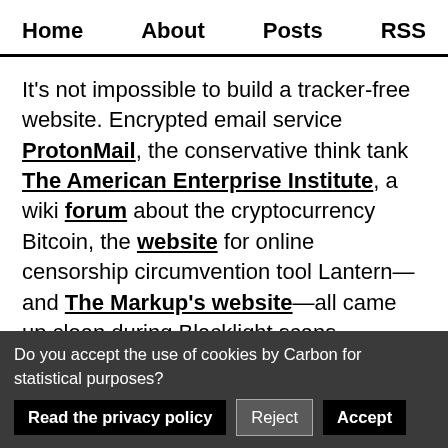Home   About   Posts   RSS
It's not impossible to build a tracker-free website. Encrypted email service ProtonMail, the conservative think tank The American Enterprise Institute, a wiki forum about the cryptocurrency Bitcoin, the website for online censorship circumvention tool Lantern—and The Markup's website—all came up clean during Blacklight scans.
ProtonMail said it has had to build
Do you accept the use of cookies by Carbon for statistical purposes?  Read the privacy policy  Reject  Accept